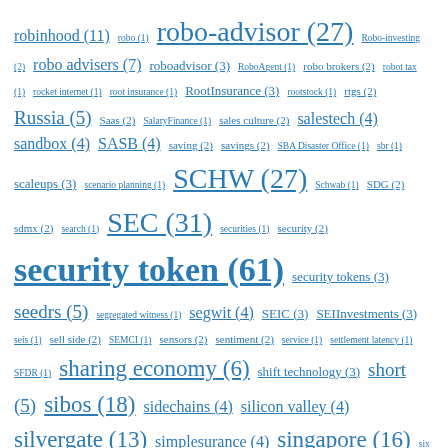robinhood (11) robo (1) robo-advisor (27) Robo-investing (2) robo advisers (7) roboadvisor (3) RoboAgent (1) robo brokers (2) robot tax (1) rocket internet (1) root insurance (1) RootInsurance (3) rootstock (1) rtgs (2) Russia (5) Saas (2) SalaryFinance (1) sales culture (2) salestech (4) sandbox (4) SASB (4) saving (2) savings (2) SBA Disaster Office (1) sbr (1) scaleups (3) scenario planning (1) SCHW (27) Schwab (1) SDG (2) sdmx (2) search (1) SEC (31) securities (1) security (2) security token (61) security tokens (3) seedrs (5) segregated witness (1) segwit (4) SEIC (3) SEIInvestments (3) seis (1) sell side (2) SEMCI (1) sensors (2) sentiment (2) service (1) settlement latency (1) SFDR (1) sharing economy (6) shift technology (3) short (5) sibos (18) sidechains (4) silicon valley (4) silvergate (13) simplesurance (4) singapore (16) six (1) skunkworks (1) skype (1) Slice (1) small banks (3) SmallBiz fintech (1) small business (4) small business banking (1) Small